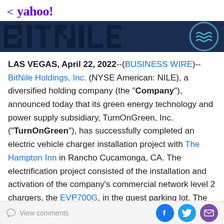< yahoo!
[Figure (logo): BitNile company logo banner — dark navy background with large stylized text 'BITNILE' and a circular icon with wave symbol on the right]
LAS VEGAS, April 22, 2022--(BUSINESS WIRE)--BitNile Holdings, Inc. (NYSE American: NILE), a diversified holding company (the "Company"), announced today that its green energy technology and power supply subsidiary, TurnOnGreen, Inc. ("TurnOnGreen"), has successfully completed an electric vehicle charger installation project with The Hampton Inn in Rancho Cucamonga, CA. The electrification project consisted of the installation and activation of the company's commercial network level 2 chargers, the EVP700G, in the guest parking lot. The chargers are searchable and
View comments